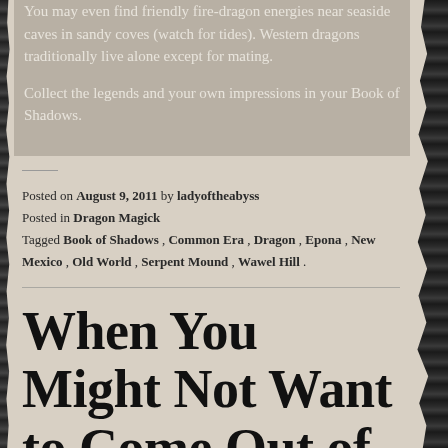You may even find friendly fire-dragon energies near seaside caves in sandy coves (watch for tides). Western dragons traditionally live alone except for mating.
Collect the legends and your own impressions in your Book of Shadows.
Posted on August 9, 2011 by ladyoftheabyss
Posted in Dragon Magick
Tagged Book of Shadows, Common Era, Dragon, Epona, New Mexico, Old World, Serpent Mound, Wawel Hill.
When You Might Not Want to Come Out of the Broom Closet